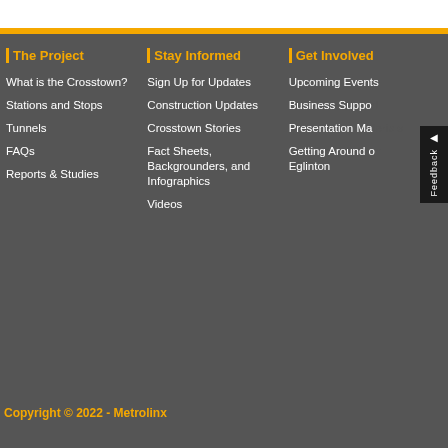The Project
What is the Crosstown?
Stations and Stops
Tunnels
FAQs
Reports & Studies
Stay Informed
Sign Up for Updates
Construction Updates
Crosstown Stories
Fact Sheets, Backgrounders, and Infographics
Videos
Get Involved
Upcoming Events
Business Support
Presentation Ma…
Getting Around on Eglinton
Copyright © 2022 - Metrolinx